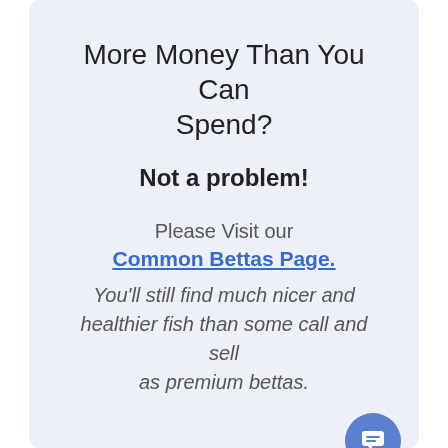More Money Than You Can Spend?
Not a problem!
Please Visit our Common Bettas Page. You'll still find much nicer and healthier fish than some call and sell as premium bettas.
[Figure (illustration): Blue circular chat bubble icon in the bottom right corner of the card]